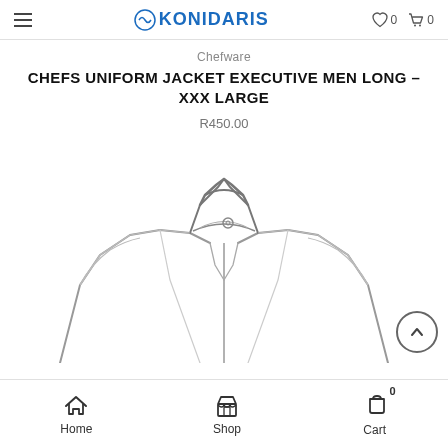KONIDARIS — navigation header with hamburger menu, logo, wishlist (0), cart (0)
Chefware
CHEFS UNIFORM JACKET EXECUTIVE MEN LONG – XXX LARGE
R450.00
[Figure (illustration): Line drawing illustration of a chef's uniform jacket (executive style, long sleeve) showing collar, front placket with button, and shoulder/chest area from upper torso view.]
Home  Shop  Cart 0